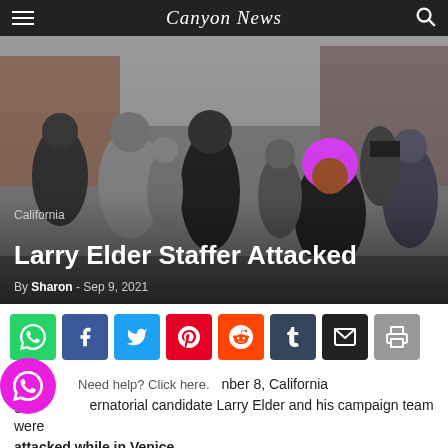Canyon News
[Figure (photo): Outdoor crowd scene with people in a confrontation. A person with bright pink hair is visible in the foreground. Photo taken in Venice, California area.]
California
Larry Elder Staffer Attacked
By Sharon - Sep 9, 2021
[Figure (infographic): Social media share buttons: WhatsApp, Facebook, Twitter, Pinterest, Reddit, Tumblr, Email, Print]
Ca... nber 8, California gubernatorial candidate Larry Elder and his campaign team were attacked while in Venice.